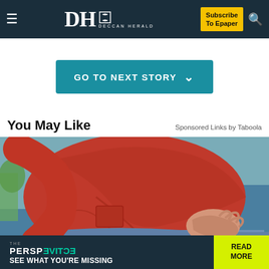DH DECCAN HERALD | Subscribe To Epaper
GO TO NEXT STORY
You May Like
Sponsored Links by Taboola
[Figure (photo): Person in red shirt holding their abdomen/stomach area, seated on a blue couch with a plant visible in the background]
[Figure (infographic): The Perspective advertisement banner - 'SEE WHAT YOU'RE MISSING' with READ MORE button in yellow-green]